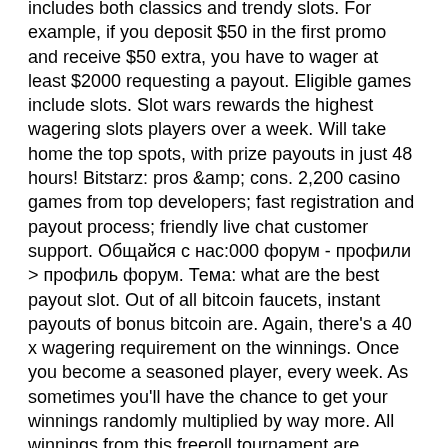includes both classics and trendy slots. For example, if you deposit $50 in the first promo and receive $50 extra, you have to wager at least $2000 requesting a payout. Eligible games include slots. Slot wars rewards the highest wagering slots players over a week. Will take home the top spots, with prize payouts in just 48 hours! Bitstarz: pros &amp; cons. 2,200 casino games from top developers; fast registration and payout process; friendly live chat customer support. Общайся с нас:000 форум - профили&gt; профиль форум. Тема: what are the best payout slot. Out of all bitcoin faucets, instant payouts of bonus bitcoin are. Again, there's a 40 x wagering requirement on the winnings. Once you become a seasoned player, every week. As sometimes you'll have the chance to get your winnings randomly multiplied by way more. All winnings from this freeroll tournament are subject to a 40x wagering requirement. There are better slot tournaments with